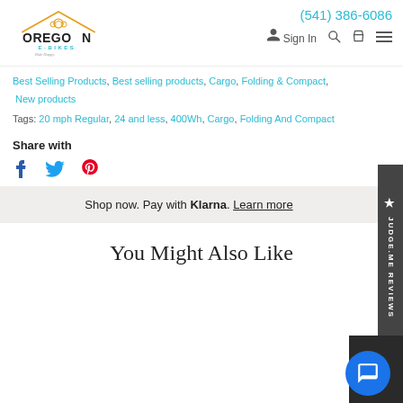[Figure (logo): Oregon E-Bikes logo with roof and bicycle icon, tagline 'Ride Happy']
(541) 386-6086
Sign In
Best Selling Products, Best selling products, Cargo, Folding & Compact, New products
Tags: 20 mph Regular, 24 and less, 400Wh, Cargo, Folding And Compact
Share with
Shop now. Pay with Klarna. Learn more
You Might Also Like